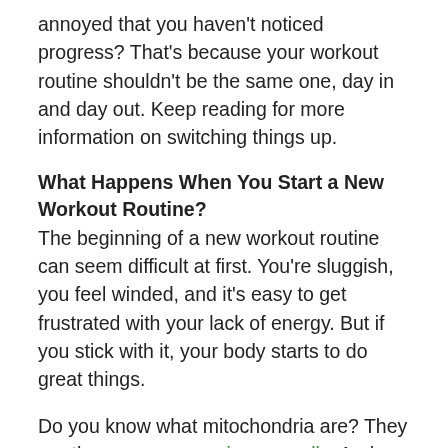annoyed that you haven't noticed progress? That's because your workout routine shouldn't be the same one, day in and day out. Keep reading for more information on switching things up.
What Happens When You Start a New Workout Routine?
The beginning of a new workout routine can seem difficult at first. You're sluggish, you feel winded, and it's easy to get frustrated with your lack of energy. But if you stick with it, your body starts to do great things.
Do you know what mitochondria are? They are the power source in your cells. And when you exercise daily, the energy capacity of your mitochondria increases. This means you're